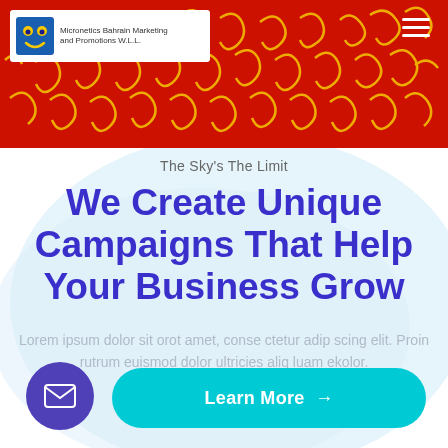[Figure (screenshot): Red header banner with yellow decorative script/squiggle pattern, company logo box on left, hamburger menu on right]
Micronetics Bahrain Marketing and Promotions W.L.L.
The Sky's The Limit
We Create Unique Campaigns That Help Your Business Grow
Lorem ipsum dolor sit orot amet, conse ctetur adip scing elit. Proin rutrum euismod dolor ultricies aliq luam ekolor.
[Figure (illustration): Purple circular email/envelope button]
Learn More →